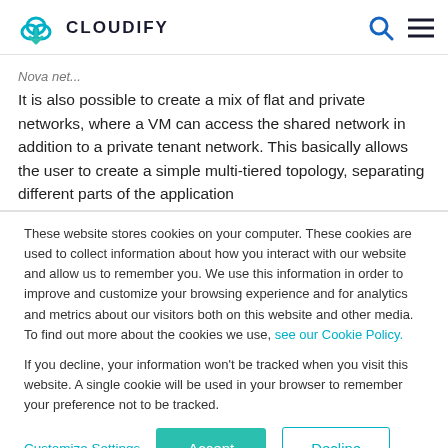CLOUDIFY
Nova net...
It is also possible to create a mix of flat and private networks, where a VM can access the shared network in addition to a private tenant network. This basically allows the user to create a simple multi-tiered topology, separating different parts of the application
These website stores cookies on your computer. These cookies are used to collect information about how you interact with our website and allow us to remember you. We use this information in order to improve and customize your browsing experience and for analytics and metrics about our visitors both on this website and other media. To find out more about the cookies we use, see our Cookie Policy.

If you decline, your information won't be tracked when you visit this website. A single cookie will be used in your browser to remember your preference not to be tracked.
Customize Settings | Accept | Decline